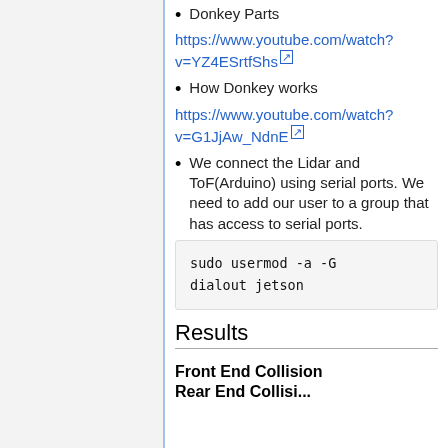Donkey Parts
https://www.youtube.com/watch?v=YZ4ESrtfShs
How Donkey works
https://www.youtube.com/watch?v=G1JjAw_NdnE
We connect the Lidar and ToF(Arduino) using serial ports. We need to add our user to a group that has access to serial ports.
sudo usermod -a -G dialout jetson
Results
Front End Collision
Rear End Collisi...